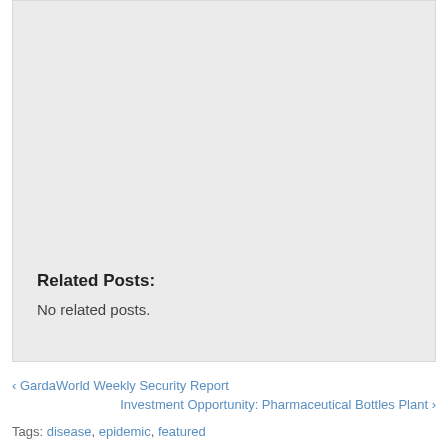Related Posts:
No related posts.
< GardaWorld Weekly Security Report
Investment Opportunity: Pharmaceutical Bottles Plant >
Tags: disease, epidemic, featured